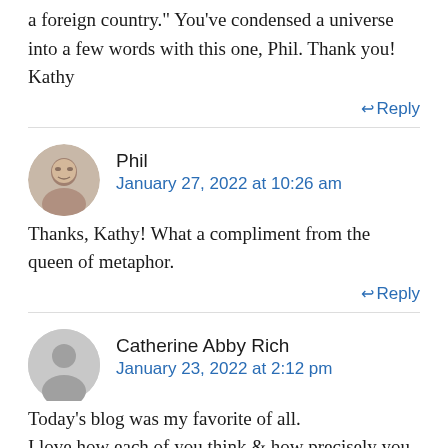a foreign country." You've condensed a universe into a few words with this one, Phil. Thank you! Kathy
↩ Reply
Phil
January 27, 2022 at 10:26 am
Thanks, Kathy! What a compliment from the queen of metaphor.
↩ Reply
Catherine Abby Rich
January 23, 2022 at 2:12 pm
Today's blog was my favorite of all. I love how each of you think & how precisely you express yourselves & inspire us all Catherine